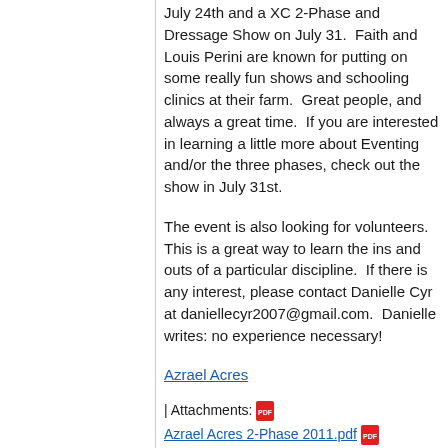July 24th and a XC 2-Phase and Dressage Show on July 31.  Faith and Louis Perini are known for putting on some really fun shows and schooling clinics at their farm.  Great people, and always a great time.  If you are interested in learning a little more about Eventing and/or the three phases, check out the show in July 31st.
The event is also looking for volunteers.  This is a great way to learn the ins and outs of a particular discipline.  If there is any interest, please contact Danielle Cyr at daniellecyr2007@gmail.com.  Danielle writes: no experience necessary!
Azrael Acres
| Attachments: Azrael Acres 2-Phase 2011.pdf  Azrael Open Show List 2011 FINAL.pdf